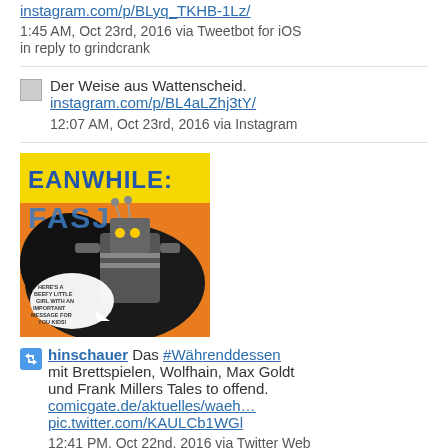instagram.com/p/BLyq_TKHB-1Lz/
1:45 AM, Oct 23rd, 2016 via Tweetbot for iOS
in reply to grindcrank
Der Weise aus Wattenscheid.
instagram.com/p/BL4aLZhj3tY/
12:07 AM, Oct 23rd, 2016 via Instagram
[Figure (illustration): Comic book image showing 'MEANWHILE: FASJON' text with a robot character. Speech bubble text: HERE'S A BEEFY LITTLE GIRL WITH AN IMPORTANT MESSAGE FOR YOU KIDS!]
hinschauer Das #Währenddessen mit Brettspielen, Wolfhain, Max Goldt und Frank Millers Tales to offend.
comicgate.de/aktuelles/waeh…
pic.twitter.com/KAULCb1WGl
12:41 PM, Oct 22nd, 2016 via Twitter Web Client (retweeted on 12:57 PM, Oct 22nd, 2016 via Twitter Web Client)